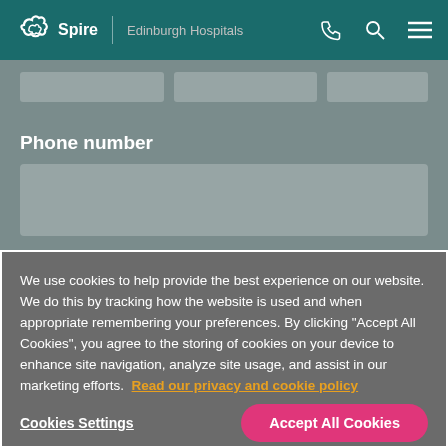Spire | Edinburgh Hospitals
Phone number
We use cookies to help provide the best experience on our website. We do this by tracking how the website is used and when appropriate remembering your preferences. By clicking "Accept All Cookies", you agree to the storing of cookies on your device to enhance site navigation, analyze site usage, and assist in our marketing efforts. Read our privacy and cookie policy
Cookies Settings
Accept All Cookies